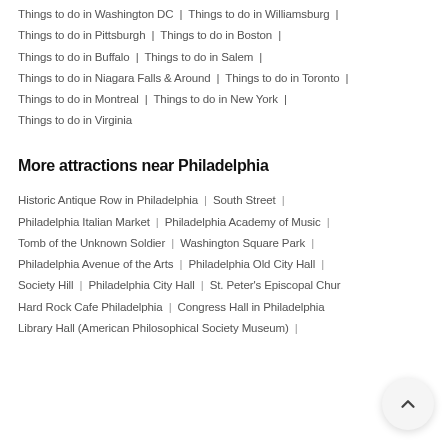Things to do in Washington DC | Things to do in Williamsburg | Things to do in Pittsburgh | Things to do in Boston | Things to do in Buffalo | Things to do in Salem | Things to do in Niagara Falls & Around | Things to do in Toronto | Things to do in Montreal | Things to do in New York | Things to do in Virginia
More attractions near Philadelphia
Historic Antique Row in Philadelphia | South Street | Philadelphia Italian Market | Philadelphia Academy of Music | Tomb of the Unknown Soldier | Washington Square Park | Philadelphia Avenue of the Arts | Philadelphia Old City Hall | Society Hill | Philadelphia City Hall | St. Peter's Episcopal Chur... | Hard Rock Cafe Philadelphia | Congress Hall in Philadelphia... | Library Hall (American Philosophical Society Museum) |